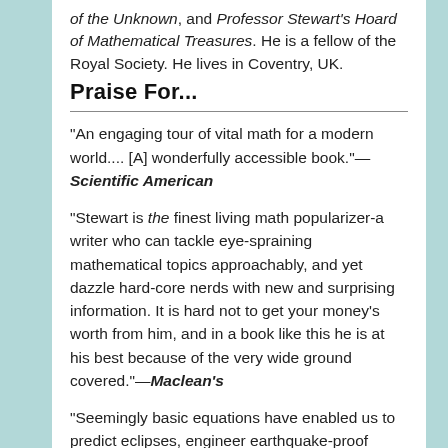of the Unknown, and Professor Stewart's Hoard of Mathematical Treasures. He is a fellow of the Royal Society. He lives in Coventry, UK.
Praise For...
"An engaging tour of vital math for a modern world.... [A] wonderfully accessible book."—Scientific American
"Stewart is the finest living math popularizer-a writer who can tackle eye-spraining mathematical topics approachably, and yet dazzle hard-core nerds with new and surprising information. It is hard not to get your money's worth from him, and in a book like this he is at his best because of the very wide ground covered."—Maclean's
"Seemingly basic equations have enabled us to predict eclipses, engineer earthquake-proof buildings, and invent the refrigerator. In this lively volume, mathematician Ian Stewart delves into 17 equations